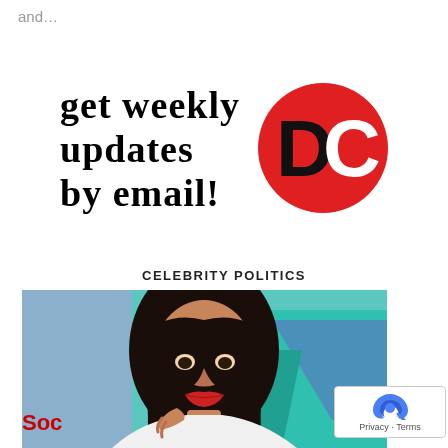and…
[Figure (infographic): Promotional banner reading 'get weekly updates by email!' alongside a DC (Daily Caller or similar) logo: red circle with bold black D and white C]
CELEBRITY POLITICS
[Figure (photo): Photo of a young woman with long dark hair, red lipstick, wearing a white top, posed with hand near chin, against a teal/blue background]
Soc
Privacy · Terms